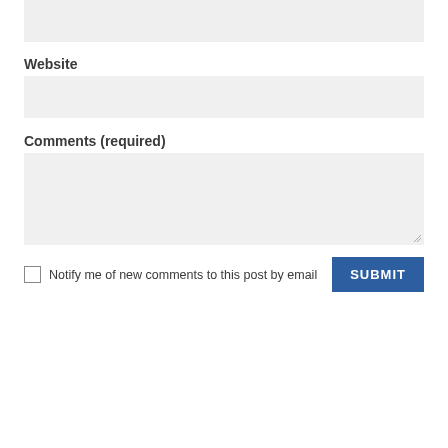[Figure (other): Gray input field (top, partially visible)]
Website
[Figure (other): Gray input field for Website]
Comments (required)
[Figure (other): Gray textarea for Comments]
Notify me of new comments to this post by email
[Figure (other): Submit button]